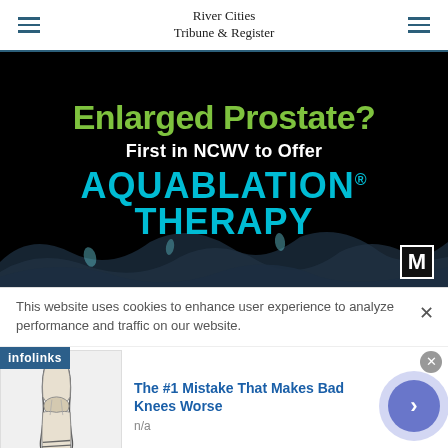River Cities Tribune & Register
[Figure (illustration): Advertisement banner on black background: 'Enlarged Prostate? First in NCWV to Offer AQUABLATION THERAPY' with water splash graphic and M badge]
This website uses cookies to enhance user experience to analyze performance and traffic on our website.
[Figure (illustration): Infolinks advertisement: knee anatomy illustration with text 'The #1 Mistake That Makes Bad Knees Worse' and 'n/a']